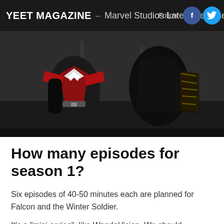YEET MAGAZINE – Marvel Studios Latest Release : Fa
[Figure (photo): Two Marvel superhero characters (Falcon and Winter Soldier) in costume standing side by side in a dark industrial setting. Left character wears red and white wing suit, right character wears dark leather tactical gear.]
How many episodes for season 1?
Six episodes of 40-50 minutes each are planned for Falcon and the Winter Soldier.
It's a "mini-series", like WandaVision. We should